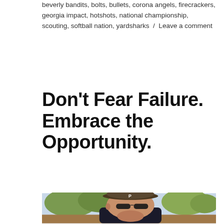beverly bandits, bolts, bullets, corona angels, firecrackers, georgia impact, hotshots, national championship, scouting, softball nation, yardsharks / Leave a comment
Don't Fear Failure. Embrace the Opportunity.
[Figure (photo): Close-up photo of a man wearing a brown baseball cap with a 'P' logo and dark sunglasses, outdoors with trees and a park in the background.]